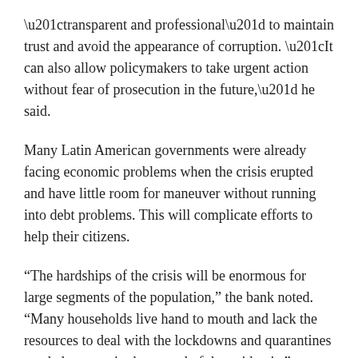“transparent and professional” to maintain trust and avoid the appearance of corruption. “It can also allow policymakers to take urgent action without fear of prosecution in the future,” he said.
Many Latin American governments were already facing economic problems when the crisis erupted and have little room for maneuver without running into debt problems. This will complicate efforts to help their citizens.
“The hardships of the crisis will be enormous for large segments of the population,” the bank noted. “Many households live hand to mouth and lack the resources to deal with the lockdowns and quarantines needed to contain the spread of the epidemic.”
The IMF forecast included a 5.3% drop in Brazil. It would be the deepest annual drop since at least 1901, when national accounts data from the government’s Institute for Economics began. Brazil contracted 2% in 1918, the year of the Spanish flu pandemic, according to the institute.